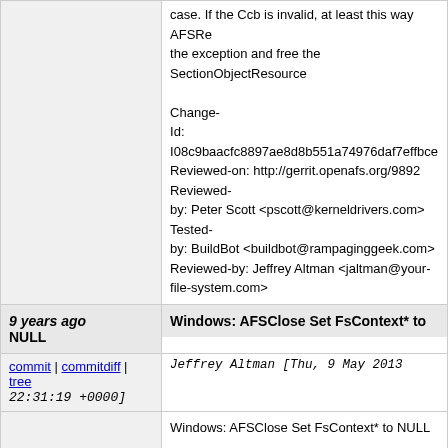case. If the Ccb is invalid, at least this way AFSRe... the exception and free the SectionObjectResource...
Change-
Id: I08c9baacfc8897ae8d8b551a74976daf7effbce...
Reviewed-on: http://gerrit.openafs.org/9892
Reviewed-
by: Peter Scott <pscott@kerneldrivers.com>
Tested-
by: BuildBot <buildbot@rampaginggeek.com>
Reviewed-by: Jeffrey Altman <jaltman@your-file-system.com>
9 years ago
Windows: AFSClose Set FsContext* to NULL
commit | commitdiff | tree
Jeffrey Altman [Thu, 9 May 2013 22:31:19 +0000]
Windows: AFSClose Set FsContext* to NULL

After the Fcb OpenReferenceCount is decremented... safe for the Fcb pointer to be referenced. Set FsC...

After the AFSRemoveCcb() call, it is no longer saf... the Ccb pointer. Set FsContext2 to NULL.

Change-
Id: I5be1367c599222df02269bf1ed85ec89ac5d27...
Reviewed-on: http://gerrit.openafs.org/9890